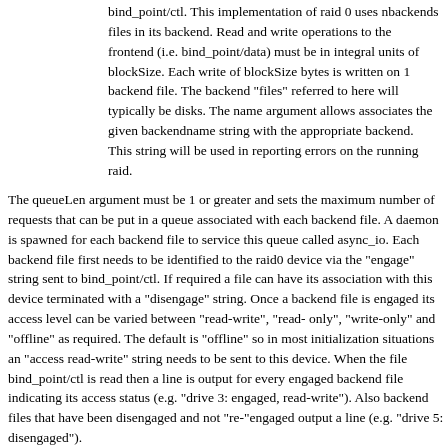bind_point/ctl. This implementation of raid 0 uses nbackends files in its backend. Read and write operations to the frontend (i.e. bind_point/data) must be in integral units of blockSize. Each write of blockSize bytes is written on 1 backend file. The backend "files" referred to here will typically be disks. The name argument allows associates the given backendname string with the appropriate backend. This string will be used in reporting errors on the running raid.
The queueLen argument must be 1 or greater and sets the maximum number of requests that can be put in a queue associated with each backend file. A daemon is spawned for each backend file to service this queue called async_io. Each backend file first needs to be identified to the raid0 device via the "engage" string sent to bind_point/ctl. If required a file can have its association with this device terminated with a "disengage" string. Once a backend file is engaged its access level can be varied between "read-write", "read-only", "write-only" and "offline" as required. The default is "offline" so in most initialization situations an "access read-write" string needs to be sent to this device. When the file bind_point/ctl is read then a line is output for every engaged backend file indicating its access status (e.g. "drive 3: engaged, read-write"). Also backend files that have been disengaged and not "re-"engaged output a line (e.g. "drive 5: disengaged").